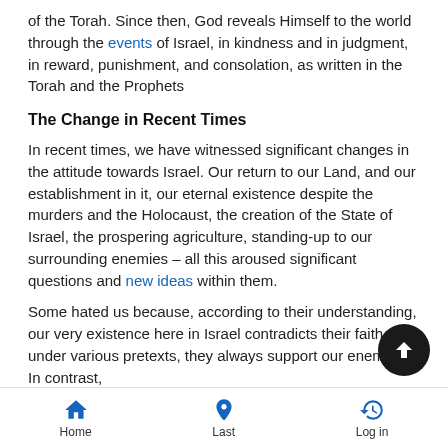of the Torah. Since then, God reveals Himself to the world through the events of Israel, in kindness and in judgment, in reward, punishment, and consolation, as written in the Torah and the Prophets
The Change in Recent Times
In recent times, we have witnessed significant changes in the attitude towards Israel. Our return to our Land, and our establishment in it, our eternal existence despite the murders and the Holocaust, the creation of the State of Israel, the prospering agriculture, standing-up to our surrounding enemies – all this aroused significant questions and new ideas within them.
Some hated us because, according to their understanding, our very existence here in Israel contradicts their faith, and under various pretexts, they always support our enemies. In contrast,
Home  Last  Log in